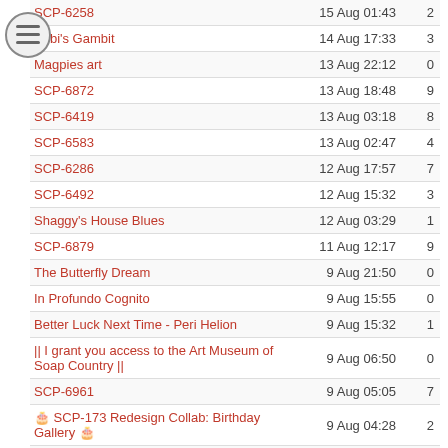| Title | Date | Count |
| --- | --- | --- |
| SCP-6258 | 15 Aug 01:43 | 2 |
| Kobi's Gambit | 14 Aug 17:33 | 3 |
| Magpies art | 13 Aug 22:12 | 0 |
| SCP-6872 | 13 Aug 18:48 | 9 |
| SCP-6419 | 13 Aug 03:18 | 8 |
| SCP-6583 | 13 Aug 02:47 | 4 |
| SCP-6286 | 12 Aug 17:57 | 7 |
| SCP-6492 | 12 Aug 15:32 | 3 |
| Shaggy's House Blues | 12 Aug 03:29 | 1 |
| SCP-6879 | 11 Aug 12:17 | 9 |
| The Butterfly Dream | 9 Aug 21:50 | 0 |
| In Profundo Cognito | 9 Aug 15:55 | 0 |
| Better Luck Next Time - Peri Helion | 9 Aug 15:32 | 1 |
| || I grant you access to the Art Museum of Soap Country || | 9 Aug 06:50 | 0 |
| SCP-6961 | 9 Aug 05:05 | 7 |
| 🎂 SCP-173 Redesign Collab: Birthday Gallery 🎂 | 9 Aug 04:28 | 2 |
| SCP-6851 | 8 Aug 15:37 | 5 |
| Money Game | 7 Aug 20:04 | 7 |
| SCP-6238 | 7 Aug 14:44 | 35 |
| 7K DOODLES | 7 Aug 10:37 | 27 |
| SCP-6713 | 6 Aug 15:34 | 21 |
| Dia De Muertos Theme | 5 Aug 20:46 | 21 |